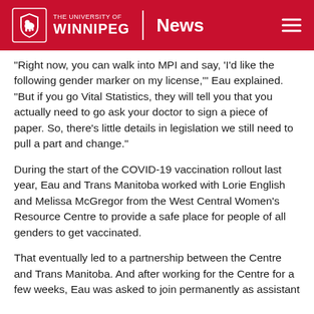THE UNIVERSITY OF WINNIPEG | News
“Right now, you can walk into MPI and say, ‘I’d like the following gender marker on my license,’” Eau explained. “But if you go Vital Statistics, they will tell you that you actually need to go ask your doctor to sign a piece of paper. So, there’s little details in legislation we still need to pull a part and change.”
During the start of the COVID-19 vaccination rollout last year, Eau and Trans Manitoba worked with Lorie English and Melissa McGregor from the West Central Women’s Resource Centre to provide a safe place for people of all genders to get vaccinated.
That eventually led to a partnership between the Centre and Trans Manitoba. And after working for the Centre for a few weeks, Eau was asked to join permanently as assistant